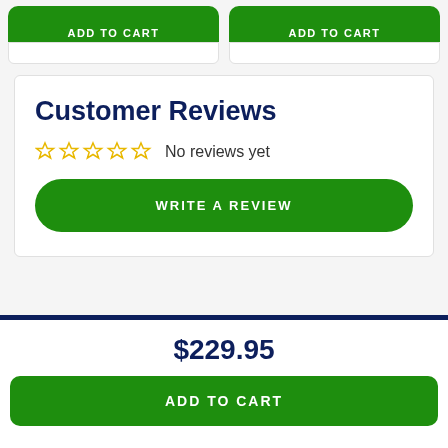[Figure (screenshot): Two partial 'ADD TO CART' green buttons visible at the top of the page]
Customer Reviews
No reviews yet
WRITE A REVIEW
$229.95
ADD TO CART